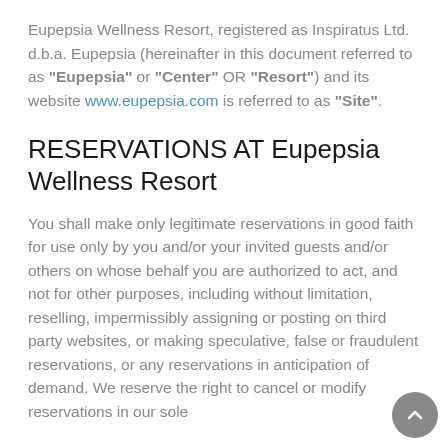Eupepsia Wellness Resort, registered as Inspiratus Ltd. d.b.a. Eupepsia (hereinafter in this document referred to as "Eupepsia" or "Center" OR "Resort") and its website www.eupepsia.com is referred to as "Site".
RESERVATIONS AT Eupepsia Wellness Resort
You shall make only legitimate reservations in good faith for use only by you and/or your invited guests and/or others on whose behalf you are authorized to act, and not for other purposes, including without limitation, reselling, impermissibly assigning or posting on third party websites, or making speculative, false or fraudulent reservations, or any reservations in anticipation of demand. We reserve the right to cancel or modify reservations in our sole